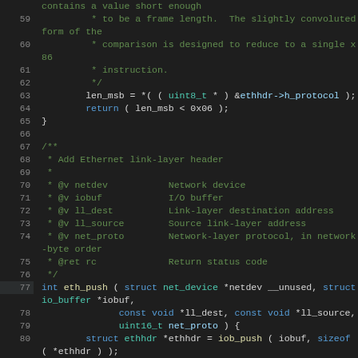[Figure (screenshot): Source code listing in a dark-themed code editor showing C code for Ethernet functions, lines 59-83, with syntax highlighting in green, blue, teal, and orange colors, and line numbers in the left gutter.]